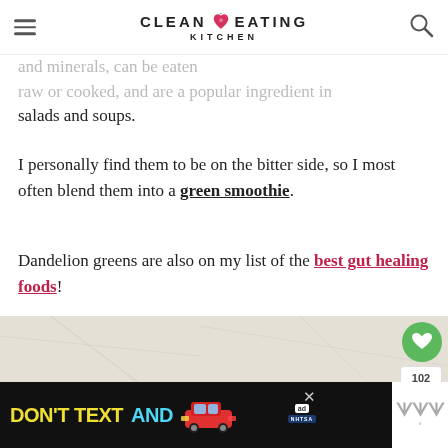CLEAN EATING KITCHEN
and minerals, can be eaten raw or cooked, and are a popular ingredient in salads and soups.
I personally find them to be on the bitter side, so I most often blend them into a green smoothie.
Dandelion greens are also on my list of the best gut healing foods!
[Figure (photo): Photo of dandelion greens on a light stone/marble surface with green leaves visible at bottom edge]
[Figure (screenshot): Advertisement banner: DON'T TEXT AND [car image] with ad badge and NHTSA logo, close button, and Waze widget on right]